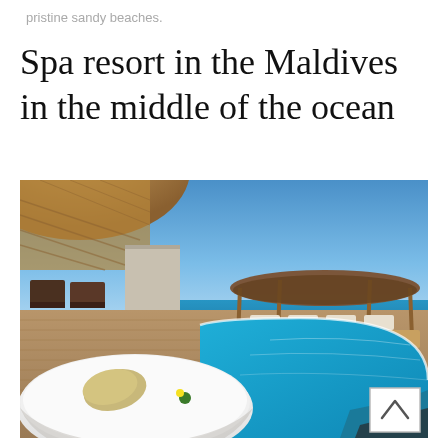pristine sandy beaches.
Spa resort in the Maldives in the middle of the ocean
[Figure (photo): Luxury Maldives spa resort overwater villa with a round white daybed with cushions on a wooden deck, a circular infinity pool with turquoise water merging with the ocean, a thatched wooden gazebo/cabana in the background, blue sky, ocean horizon. A scroll-to-top button (caret/chevron up icon in white box) is visible in the lower right corner of the image.]